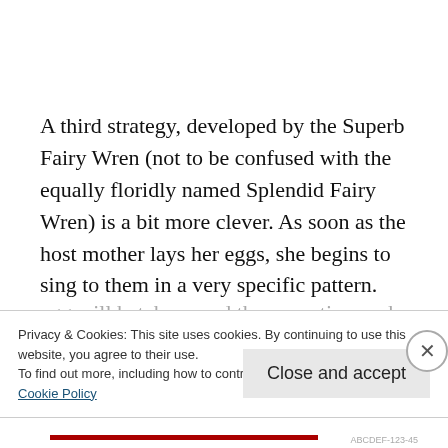A third strategy, developed by the Superb Fairy Wren (not to be confused with the equally floridly named Splendid Fairy Wren) is a bit more clever. As soon as the host mother lays her eggs, she begins to sing to them in a very specific pattern. Now, in this case, the cuckoo egg will hatch around the same time as her
Privacy & Cookies: This site uses cookies. By continuing to use this website, you agree to their use.
To find out more, including how to control cookies, see here:
Cookie Policy
Close and accept